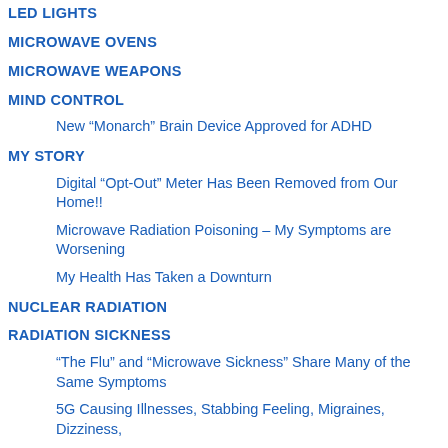LED LIGHTS
MICROWAVE OVENS
MICROWAVE WEAPONS
MIND CONTROL
New “Monarch” Brain Device Approved for ADHD
MY STORY
Digital “Opt-Out” Meter Has Been Removed from Our Home!!
Microwave Radiation Poisoning – My Symptoms are Worsening
My Health Has Taken a Downturn
NUCLEAR RADIATION
RADIATION SICKNESS
“The Flu” and “Microwave Sickness” Share Many of the Same Symptoms
5G Causing Illnesses, Stabbing Feeling, Migraines, Dizziness,